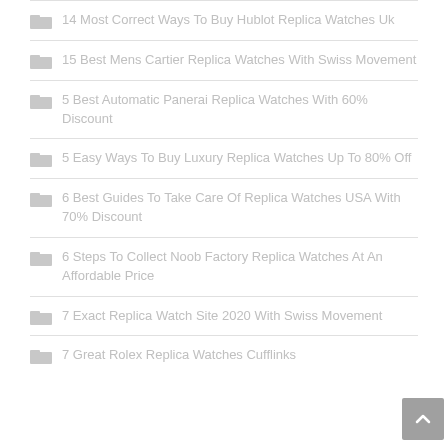14 Most Correct Ways To Buy Hublot Replica Watches Uk
15 Best Mens Cartier Replica Watches With Swiss Movement
5 Best Automatic Panerai Replica Watches With 60% Discount
5 Easy Ways To Buy Luxury Replica Watches Up To 80% Off
6 Best Guides To Take Care Of Replica Watches USA With 70% Discount
6 Steps To Collect Noob Factory Replica Watches At An Affordable Price
7 Exact Replica Watch Site 2020 With Swiss Movement
7 Great Rolex Replica Watches Cufflinks